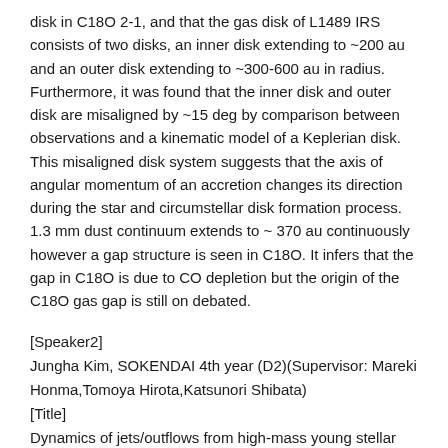disk in C18O 2-1, and that the gas disk of L1489 IRS consists of two disks, an inner disk extending to ~200 au and an outer disk extending to ~300-600 au in radius. Furthermore, it was found that the inner disk and outer disk are misaligned by ~15 deg by comparison between observations and a kinematic model of a Keplerian disk. This misaligned disk system suggests that the axis of angular momentum of an accretion changes its direction during the star and circumstellar disk formation process. 1.3 mm dust continuum extends to ~ 370 au continuously however a gap structure is seen in C18O. It infers that the gap in C18O is due to CO depletion but the origin of the C18O gas gap is still on debated.
[Speaker2]
Jungha Kim, SOKENDAI 4th year (D2)(Supervisor: Mareki Honma,Tomoya Hirota,Katsunori Shibata)
[Title]
Dynamics of jets/outflows from high-mass young stellar objects revealed by KaVA and ALMA observations